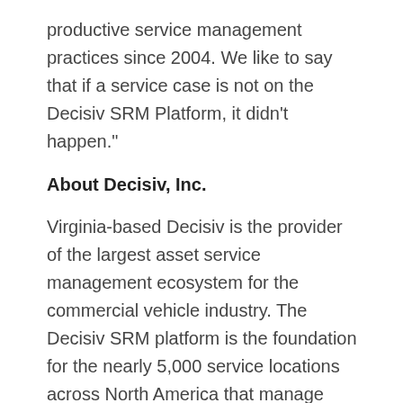productive service management practices since 2004. We like to say that if a service case is not on the Decisiv SRM Platform, it didn't happen."
About Decisiv, Inc.
Virginia-based Decisiv is the provider of the largest asset service management ecosystem for the commercial vehicle industry. The Decisiv SRM platform is the foundation for the nearly 5,000 service locations across North America that manage more than 3.5 million service and repair events for commercial vehicles annually. Through Decisiv's SRM platform, dealers, service providers, manufacturers, and fleets can better manage...